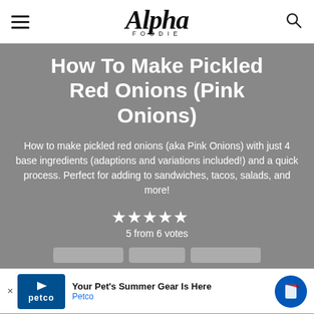Alpha Foodie
How To Make Pickled Red Onions (Pink Onions)
How to make pickled red onions (aka Pink Onions) with just 4 base ingredients (adaptions and variations included!) and a quick process. Perfect for adding to sandwiches, tacos, salads, and more!
5 from 6 votes
[Figure (other): Petco advertisement banner: 'Your Pet's Summer Gear Is Here' by Petco]
Course: Appetizer, Condiment, Si...